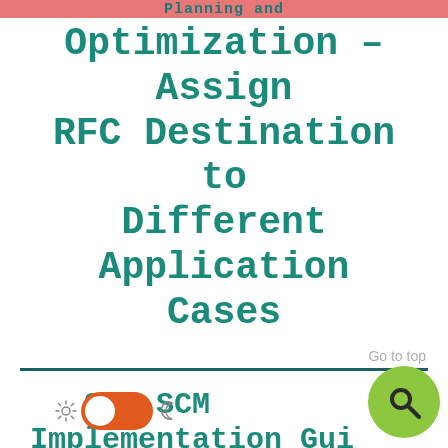Planning and
Optimization – Assign RFC Destination to Different Application Cases
Go to top
SAP SCM Implementation Guide – Advanced Planning